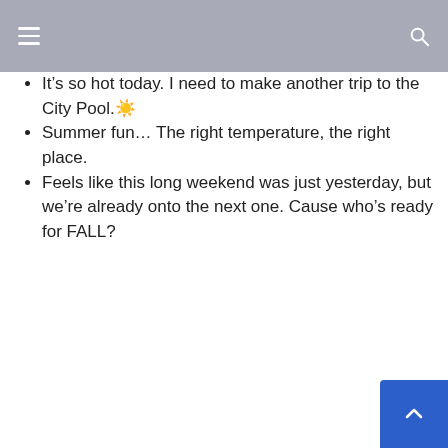It's so hot today. I need to make another trip to the City Pool. ☀️
Summer fun… The right temperature, the right place.
Feels like this long weekend was just yesterday, but we're already onto the next one. Cause who's ready for FALL?